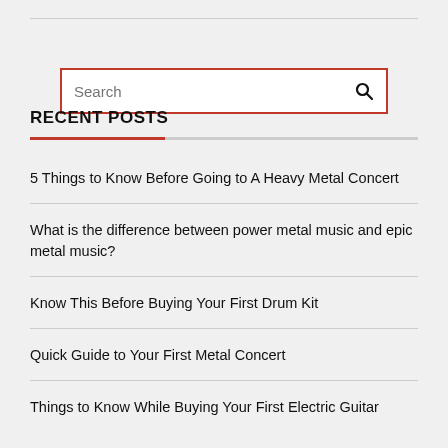[Figure (screenshot): Search input box with red border and magnifying glass icon on the right]
RECENT POSTS
5 Things to Know Before Going to A Heavy Metal Concert
What is the difference between power metal music and epic metal music?
Know This Before Buying Your First Drum Kit
Quick Guide to Your First Metal Concert
Things to Know While Buying Your First Electric Guitar